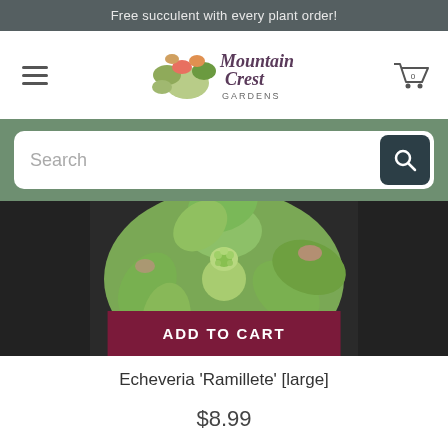Free succulent with every plant order!
[Figure (logo): Mountain Crest Gardens logo with succulent illustration]
[Figure (photo): Close-up photo of Echeveria 'Ramillete' succulent rosette with green fleshy leaves and small flower bud in center]
ADD TO CART
Echeveria 'Ramillete' [large]
$8.99
[Figure (photo): Partial photo of second succulent plant with rounded green and red-tipped leaves]